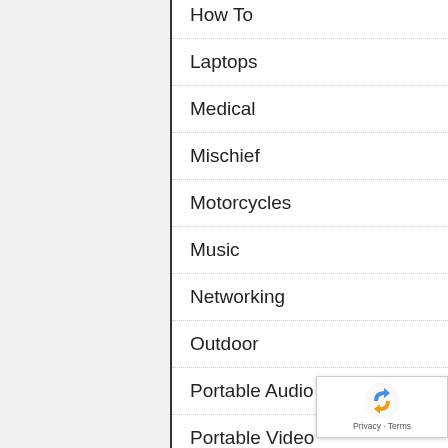How To
Laptops
Medical
Mischief
Motorcycles
Music
Networking
Outdoor
Portable Audio
Portable Video
Reviews
Road Trip 2013
Robot
Solar